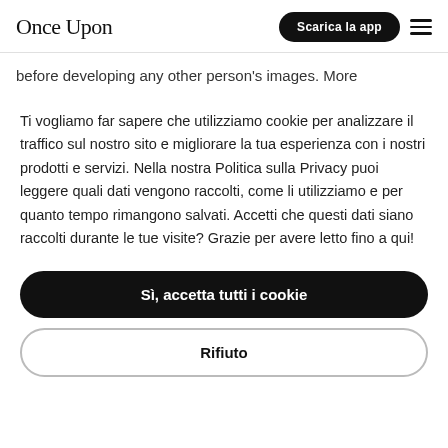Once Upon — Scarica la app
before developing any other person's images. More information about this can be found in our Terms and
Ti vogliamo far sapere che utilizziamo cookie per analizzare il traffico sul nostro sito e migliorare la tua esperienza con i nostri prodotti e servizi. Nella nostra Politica sulla Privacy puoi leggere quali dati vengono raccolti, come li utilizziamo e per quanto tempo rimangono salvati. Accetti che questi dati siano raccolti durante le tue visite? Grazie per avere letto fino a qui!
Sì, accetta tutti i cookie
Rifiuto